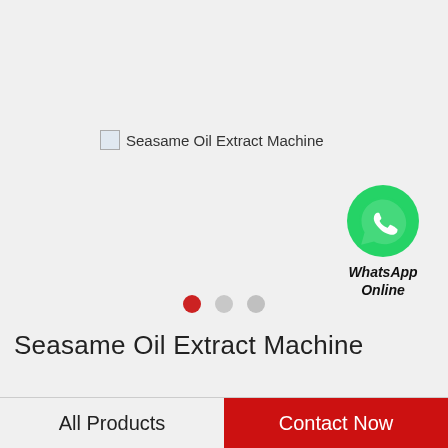[Figure (photo): Broken image placeholder for Seasame Oil Extract Machine with alt text visible]
[Figure (logo): WhatsApp green phone icon circle with WhatsApp Online label below]
[Figure (other): Carousel navigation dots: red filled dot, gray dot, lighter gray dot]
Seasame Oil Extract Machine
All Products
Contact Now